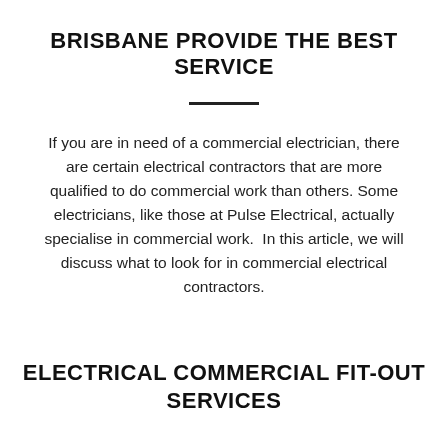BRISBANE PROVIDE THE BEST SERVICE
If you are in need of a commercial electrician, there are certain electrical contractors that are more qualified to do commercial work than others. Some electricians, like those at Pulse Electrical, actually specialise in commercial work.  In this article, we will discuss what to look for in commercial electrical contractors.
ELECTRICAL COMMERCIAL FIT-OUT SERVICES